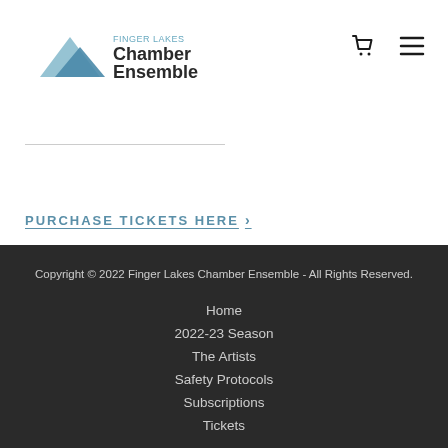Finger Lakes Chamber Ensemble
PURCHASE TICKETS HERE >
Copyright © 2022 Finger Lakes Chamber Ensemble - All Rights Reserved.
Home
2022-23 Season
The Artists
Safety Protocols
Subscriptions
Tickets